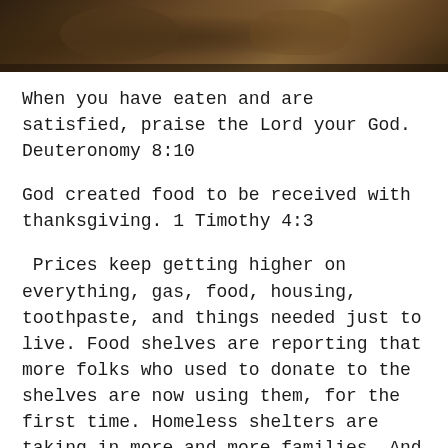[Figure (photo): Dark decorative banner image at top of page, appearing to show food or ornamental items with dark brown and earthy tones]
When you have eaten and are satisfied, praise the Lord your God. Deuteronomy 8:10
God created food to be received with thanksgiving. 1 Timothy 4:3
Prices keep getting higher on everything, gas, food, housing, toothpaste, and things needed just to live. Food shelves are reporting that more folks who used to donate to the shelves are now using them, for the first time. Homeless shelters are taking in more and more families. And yet, we are still a nation of excess, and the food shelves are in dire